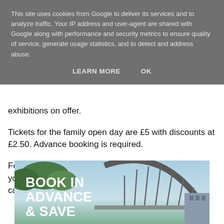This site uses cookies from Google to deliver its services and to analyze traffic. Your IP address and user-agent are shared with Google along with performance and security metrics to ensure quality of service, generate usage statistics, and to detect and address abuse.
LEARN MORE    OK
exhibitions on offer.
Tickets for the family open day are £5 with discounts at £2.50. Advance booking is required.
For more information on what is on offer or to book your tickets visit www.darlingtonhippodrome.co.uk or call 01325 405450.
[Figure (photo): Promotional image showing a bridge arch (likely Tyne Bridge, Newcastle) in the background with large white bold text reading 'BOOK IN ADVANCE & SAVE']